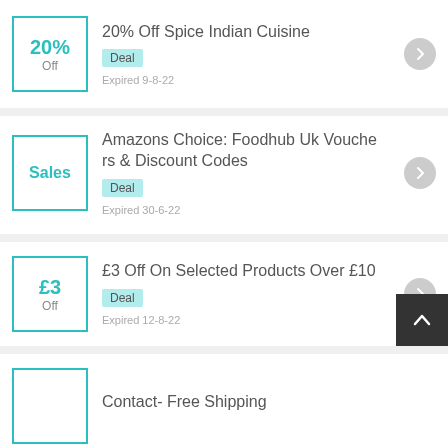20% Off Spice Indian Cuisine — Deal — Expired 9-8-22
Amazons Choice: Foodhub Uk Vouchers & Discount Codes — Deal — Expired 30-6-22
£3 Off On Selected Products Over £10 — Deal — Expired 12-8-22
Contact- Free Shipping